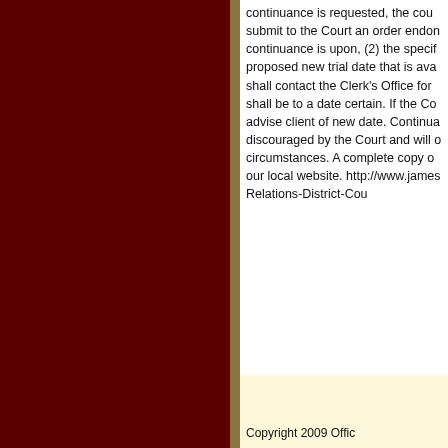continuance is requested, the cou submit to the Court an order endon continuance is upon, (2) the specif proposed new trial date that is ava shall contact the Clerk's Office for shall be to a date certain. If the Co advise client of new date. Continua discouraged by the Court and will o circumstances. A complete copy o our local website. http://www.james Relations-District-Cou
Copyright 2009 Offic